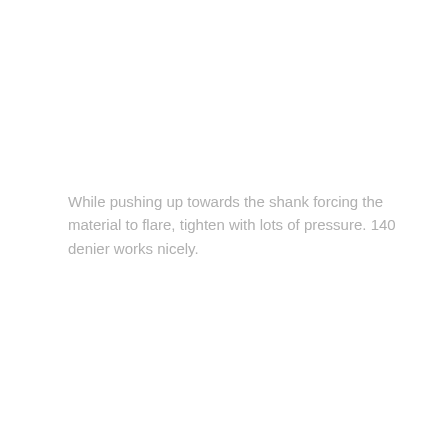While pushing up towards the shank forcing the material to flare, tighten with lots of pressure. 140 denier works nicely.